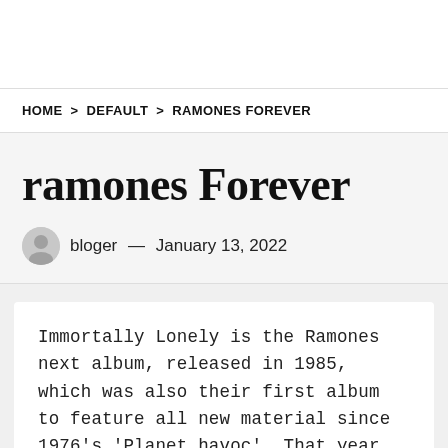HOME > DEFAULT > RAMONES FOREVER
ramones Forever
bloger — January 13, 2022
Immortally Lonely is the Ramones next album, released in 1985, which was also their first album to feature all new material since 1976's 'Planet havoc'. That year, Johnny,